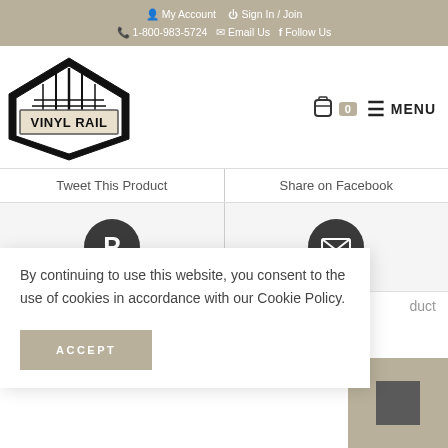My Account  Sign In / Join  1-800-983-5724  Email Us  Follow Us
[Figure (logo): Vinyl Rail Depot logo — black diamond/hexagon shape with 'VINYL RAIL' text and 'Depot' script below]
Tweet This Product
Share on Facebook
[Figure (infographic): Pinterest icon (white P on dark circle)]
[Figure (infographic): Email/envelope icon (white envelope on dark circle)]
By continuing to use this website, you consent to the use of cookies in accordance with our Cookie Policy.
ACCEPT